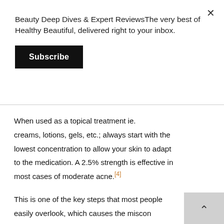Beauty Deep Dives & Expert ReviewsThe very best of Healthy Beautiful, delivered right to your inbox.
Subscribe
When used as a topical treatment ie. creams, lotions, gels, etc.; always start with the lowest concentration to allow your skin to adapt to the medication. A 2.5% strength is effective in most cases of moderate acne.[4]
This is one of the key steps that most people easily overlook, which causes the misconception that the product isn't working whereas it was just used incorrectly.